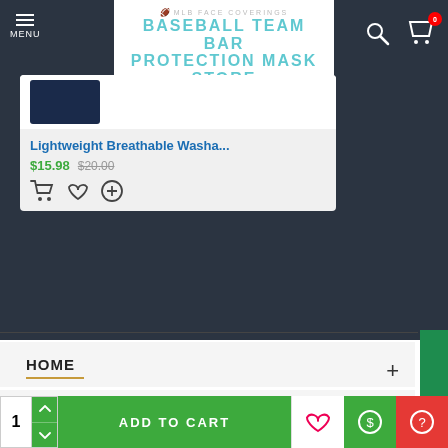MLB FACE COVERINGS | BASEBALL TEAM BAR PROTECTION MASK STORE | MENU | 0
[Figure (screenshot): Product card showing partial navy item image]
Lightweight Breathable Washa...
$15.98  $20.00
HOME
MY ACCOUNT
CUSTOMER SERVICE
ADD TO CART
1